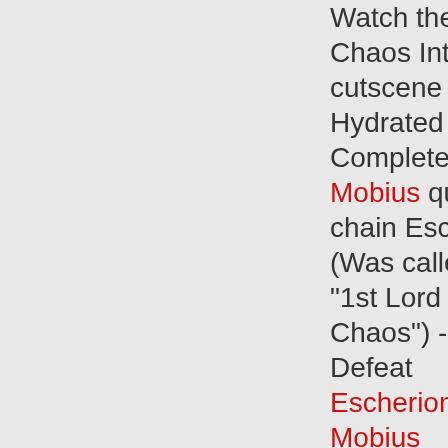Watch the Chaos Intro cutscene Hydrated - Complete the Mobius quest chain Escherion (Was called "1st Lord of Chaos") - Defeat Escherion in Mobius Champion of Good - Complete King Alteon (NPC)'s quests in Swordhaven Champion of Evil - Complete Gravelyn (NPC)'s quests in Shadowfall Hero - Choose to